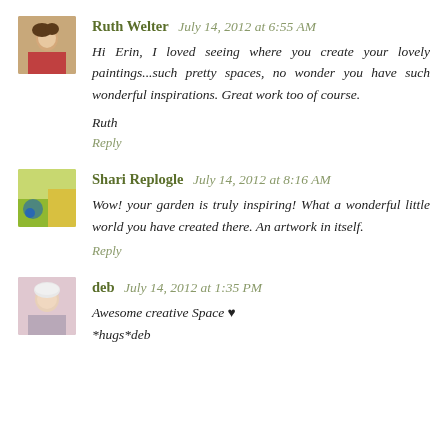[Figure (photo): Avatar photo of Ruth Welter — woman with reddish top]
Ruth Welter July 14, 2012 at 6:55 AM
Hi Erin, I loved seeing where you create your lovely paintings...such pretty spaces, no wonder you have such wonderful inspirations. Great work too of course.

Ruth
Reply
[Figure (photo): Avatar photo of Shari Replogle — abstract/garden painting thumbnail]
Shari Replogle July 14, 2012 at 8:16 AM
Wow! your garden is truly inspiring! What a wonderful little world you have created there. An artwork in itself.
Reply
[Figure (photo): Avatar photo of deb — woman with light hair]
deb July 14, 2012 at 1:35 PM
Awesome creative Space ♥
*hugs*deb